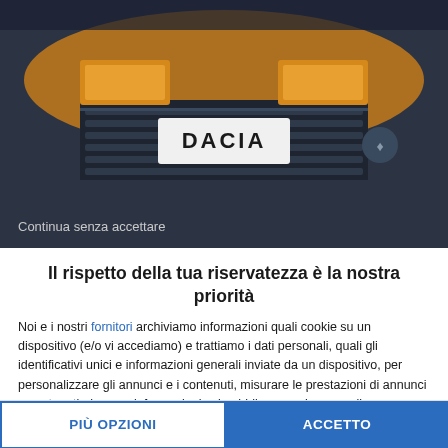[Figure (photo): Dacia car front grille photo with orange/amber colored vehicle against dark background]
Continua senza accettare
Il rispetto della tua riservatezza è la nostra priorità
Noi e i nostri fornitori archiviamo informazioni quali cookie su un dispositivo (e/o vi accediamo) e trattiamo i dati personali, quali gli identificativi unici e informazioni generali inviate da un dispositivo, per personalizzare gli annunci e i contenuti, misurare le prestazioni di annunci e contenuti, ricavare informazioni sul pubblico e anche per sviluppare e migliorare i prodotti.Con la tua autorizzazione noi e i nostri fornitori possiamo utilizzare dati precisi di geolocalizzazione e
PIÙ OPZIONI
ACCETTO